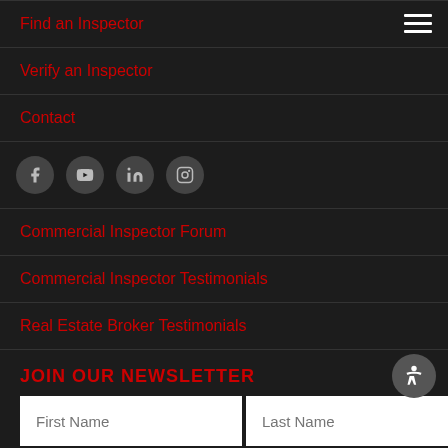Find an Inspector
Verify an Inspector
Contact
[Figure (infographic): Social media icons row: Facebook, YouTube, LinkedIn, Instagram — circular gray buttons]
Commercial Inspector Forum
Commercial Inspector Testimonials
Real Estate Broker Testimonials
JOIN OUR NEWSLETTER
First Name | Last Name (form input fields)